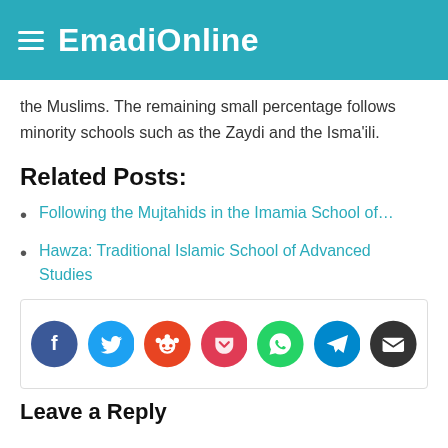EmadiOnline
the Muslims. The remaining small percentage follows minority schools such as the Zaydi and the Isma'ili.
Related Posts:
Following the Mujtahids in the Imamia School of…
Hawza: Traditional Islamic School of Advanced Studies
[Figure (other): Social share buttons: Facebook, Twitter, Reddit, Pocket, WhatsApp, Telegram, Email]
Leave a Reply